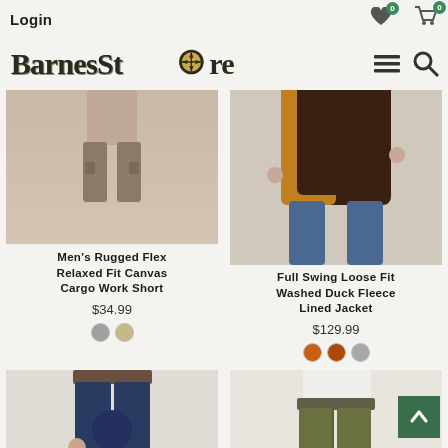Login
[Figure (logo): BarnesStore logo with compass rose replacing the 'o']
Men's Rugged Flex Relaxed Fit Canvas Cargo Work Short
$34.99
[Figure (photo): Men's cargo work shorts product image]
Full Swing Loose Fit Washed Duck Fleece Lined Jacket
$129.99
[Figure (photo): Men's fleece lined jacket product image]
[Figure (photo): Men's dark wash jeans product image]
[Figure (photo): Men's olive/green work pants product image]